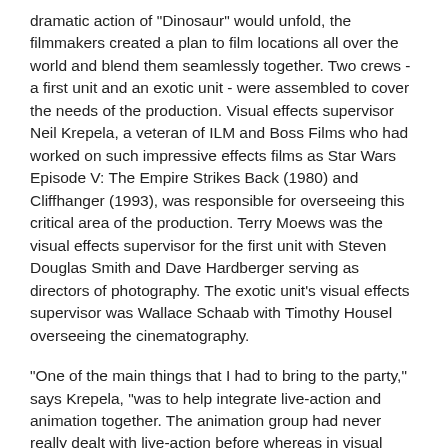dramatic action of "Dinosaur" would unfold, the filmmakers created a plan to film locations all over the world and blend them seamlessly together. Two crews - a first unit and an exotic unit - were assembled to cover the needs of the production. Visual effects supervisor Neil Krepela, a veteran of ILM and Boss Films who had worked on such impressive effects films as Star Wars Episode V: The Empire Strikes Back (1980) and Cliffhanger (1993), was responsible for overseeing this critical area of the production. Terry Moews was the visual effects supervisor for the first unit with Steven Douglas Smith and Dave Hardberger serving as directors of photography. The exotic unit's visual effects supervisor was Wallace Schaab with Timothy Housel overseeing the cinematography.
"One of the main things that I had to bring to the party," says Krepela, "was to help integrate live-action and animation together. The animation group had never really dealt with live-action before whereas in visual effects we use animation